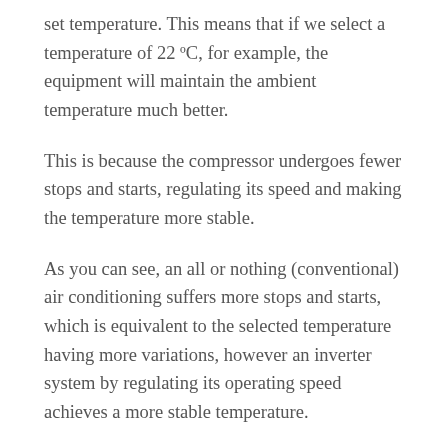set temperature. This means that if we select a temperature of 22 ºC, for example, the equipment will maintain the ambient temperature much better.
This is because the compressor undergoes fewer stops and starts, regulating its speed and making the temperature more stable.
As you can see, an all or nothing (conventional) air conditioning suffers more stops and starts, which is equivalent to the selected temperature having more variations, however an inverter system by regulating its operating speed achieves a more stable temperature.
The electricity consumption of our homes is today one of the most important points of our day